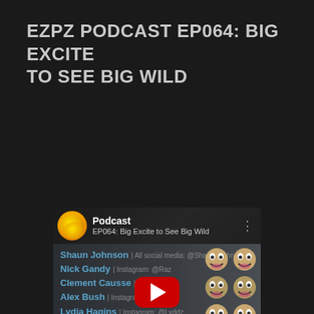EZPZ PODCAST EP064: BIG EXCITE TO SEE BIG WILD
[Figure (screenshot): YouTube video embed showing EZPZ Podcast EP064: Big Excite to See Big Wild, with podcast logo (lemon graphic), episode title, list of participants including Shaun Johnson, Nick Gandy, Clement Causse, Alex Bush, Lydia Hagins, Madison Zachrich-Lehew, Shayna Gandy, video player controls showing 00:00 / 30:50 duration, and troll face meme graphics on the right side.]